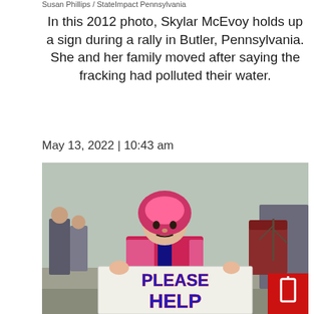Susan Phillips / StateImpact Pennsylvania
In this 2012 photo, Skylar McEvoy holds up a sign during a rally in Butler, Pennsylvania. She and her family moved after saying the fracking had polluted their water.
May 13, 2022 | 10:43 am
[Figure (photo): A young girl in a pink hooded jacket and hat holds a handmade white sign reading PLEASE HELP at an outdoor rally. Adults and other people stand in the background.]